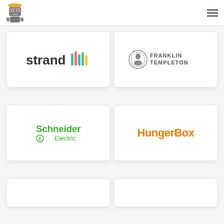Navigation header with logo and hamburger menu
[Figure (logo): Strand logo with colorful bar chart icon]
[Figure (logo): Franklin Templeton logo with portrait medallion]
[Figure (logo): Schneider Electric logo in green]
[Figure (logo): HungerBox logo in orange]
[Figure (logo): Partial card at bottom left]
[Figure (logo): Partial card at bottom right]